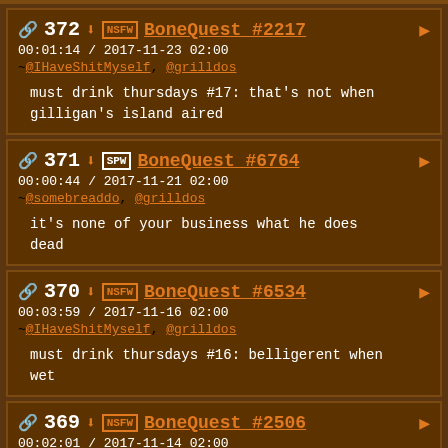372 NSFW BoneQuest #2217 | 00:01:14 / 2017-11-23 02:00 | ~@IHaveShitMyself, @grilldos | must drink thursdays #17: that's not when gilligan's island aired
371 SPW BoneQuest #6764 | 00:00:44 / 2017-11-21 02:00 | ~@somebreaddo, @grilldos | it's none of your business what he does dead
370 NSFW BoneQuest #6534 | 00:03:59 / 2017-11-16 02:00 | ~@IHaveShitMyself, @grilldos | must drink thursdays #16: belligerent when wet
369 NSFW BoneQuest #2506 | 00:02:01 / 2017-11-14 02:00